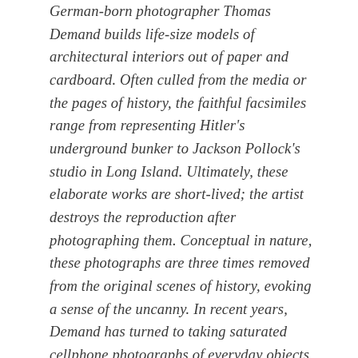German-born photographer Thomas Demand builds life-size models of architectural interiors out of paper and cardboard. Often culled from the media or the pages of history, the faithful facsimiles range from representing Hitler's underground bunker to Jackson Pollock's studio in Long Island. Ultimately, these elaborate works are short-lived; the artist destroys the reproduction after photographing them. Conceptual in nature, these photographs are three times removed from the original scenes of history, evoking a sense of the uncanny. In recent years, Demand has turned to taking saturated cellphone photographs of everyday objects (bathroom tiles, paper cups wedged in